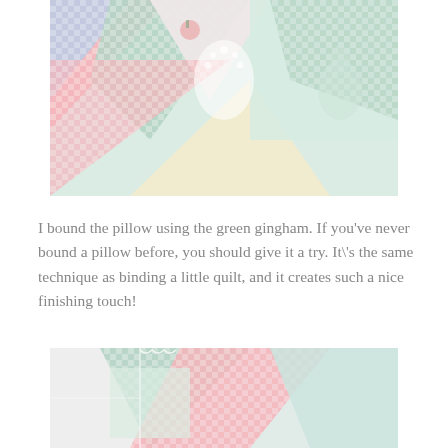[Figure (photo): Close-up photo of colorful patchwork quilt fabric squares and triangles in pastel colors including pink gingham, blue gingham, green, yellow, and fabric with bunny/rabbit illustrations and strawberry prints, with lace trim visible.]
I bound the pillow using the green gingham.  If you've never bound a pillow before, you should give it a try.  It\'s the same technique as binding a little quilt, and it creates such a nice finishing touch!
[Figure (photo): Close-up photo of a patchwork quilt pillow showing pastel colored fabric triangles and squares in pink gingham, green, blue, and white with bunny/rabbit print fabric, with visible quilting stitches and binding edge.]